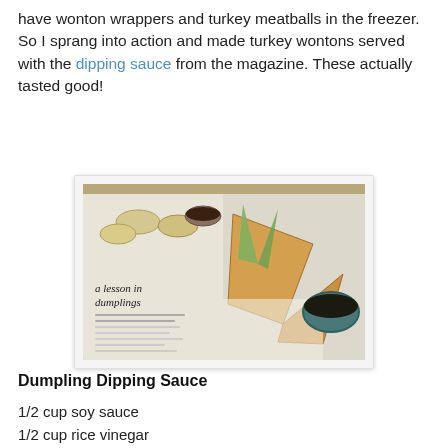have wonton wrappers and turkey meatballs in the freezer. So I sprang into action and made turkey wontons served with the dipping sauce from the magazine. These actually tasted good!
[Figure (photo): A photo showing an open magazine with a 'lesson in dumplings' article alongside homemade turkey wontons on a paper towel and a cup of dipping sauce.]
Dumpling Dipping Sauce
1/2 cup soy sauce
1/2 cup rice vinegar
1 T. Chinese chili garlic sauce
1 t. toasted sesame oil